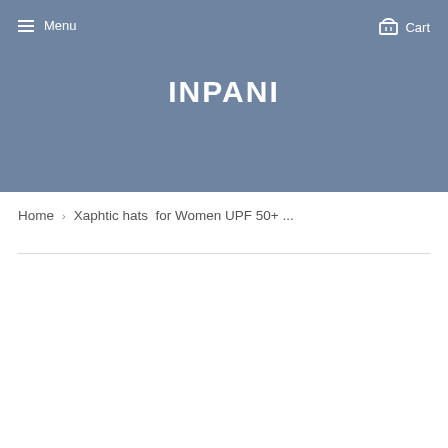Menu  Cart
INPANI
Home › Xaphtic hats  for Women UPF 50+ ...